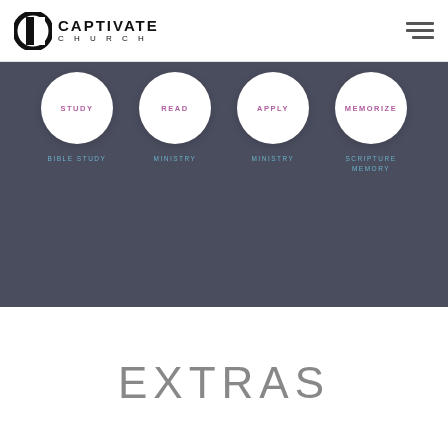CAPTIVATE CHURCH
[Figure (infographic): Four white circles on dark background labeled STUDY (Bible Study), READ (Ministry), APPLY (Ministry), MEMORIZE (Scripture Memory)]
EXTRAS